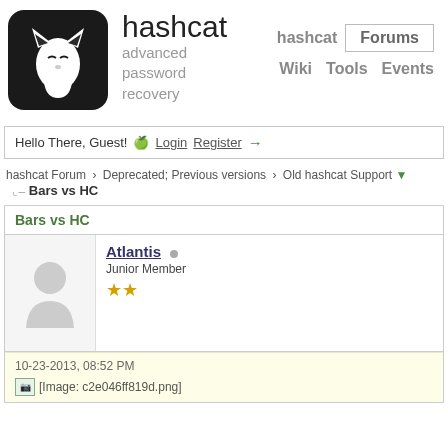[Figure (logo): Hashcat logo: white cat silhouette on dark rounded square background]
hashcat
advanced password recovery
hashcat  Forums  Wiki  Tools  Events
Hello There, Guest!  Login  Register →
hashcat Forum › Deprecated; Previous versions › Old hashcat Support ▼
Bars vs HC
Bars vs HC
Atlantis
Junior Member
10-23-2013, 08:52 PM
[Image: c2e046ff819d.png]